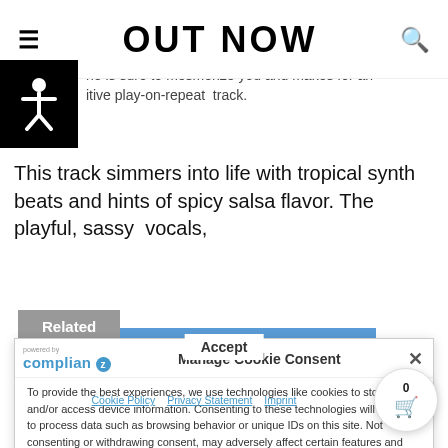OUT NOW
he is sure to mesmerize you and makes for an itive play-on-repeat track.
This track simmers into life with tropical synth beats and hints of spicy salsa flavor. The playful, sassy vocals,
perfectly match the Latin cues captured musically and create a captivating effect. Overall, this ear worm single, particularly the solo trumpet chorus which is the centrepiece, adds a spellbinding ingredient, and will leave ya...
Manage Cookie Consent
To provide the best experiences, we use technologies like cookies to store and/or access device information. Consenting to these technologies will allow us to process data such as browsing behavior or unique IDs on this site. Not consenting or withdrawing consent, may adversely affect certain features and functions.
Related
NERIAH Returns with a New Hot Single "Unfinished Business"
Cookie Policy   Privacy Statement   Imprint